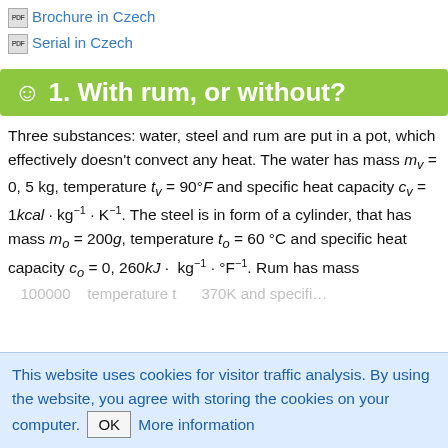Brochure in Czech
Serial in Czech
☺ 1. With rum, or without?
Three substances: water, steel and rum are put in a pot, which effectively doesn't convect any heat. The water has mass m_v = 0, 5 kg, temperature t_v = 90°F and specific heat capacity c_v = 1kcal · kg⁻¹ · K⁻¹. The steel is in form of a cylinder, that has mass m_o = 200g, temperature t_o = 60 °C and specific heat capacity c_o = 0, 260kJ · kg⁻¹ · °F⁻¹. Rum has mass
100000... temperature t... 370K and specific...
This website uses cookies for visitor traffic analysis. By using the website, you agree with storing the cookies on your computer. OK More information